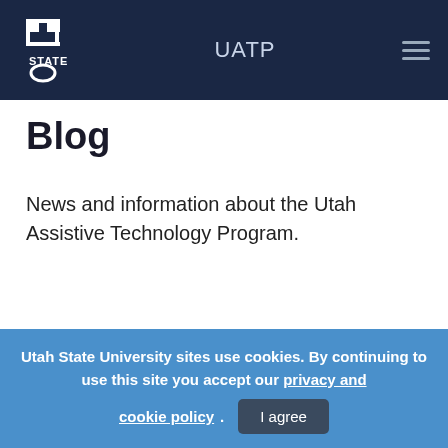[Figure (logo): Utah State University logo with block letters U and T in a shield, and 'STATE' text below, white on dark navy background]
UATP
Blog
News and information about the Utah Assistive Technology Program.
Search...
Utah State University sites use cookies. By continuing to use this site you accept our privacy and cookie policy. I agree